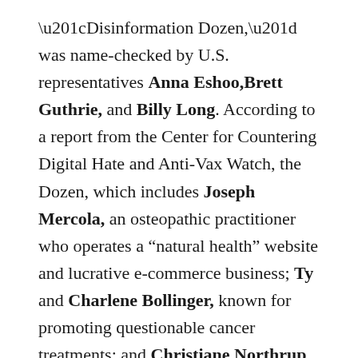“Disinformation Dozen,” was name-checked by U.S. representatives Anna Eshoo, Brett Guthrie, and Billy Long. According to a report from the Center for Countering Digital Hate and Anti-Vax Watch, the Dozen, which includes Joseph Mercola, an osteopathic practitioner who operates a “natural health” website and lucrative e-commerce business; Ty and Charlene Bollinger, known for promoting questionable cancer treatments; and Christiane Northrup, who has insinuated in a Facebook video that receiving a vaccination will mean that the patient’s DNA is owned by an ominous and unnamed “they,” are the source of as much as two thirds of all anti-vaccination content shared